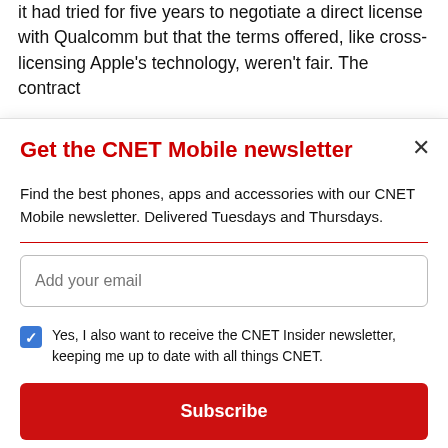it had tried for five years to negotiate a direct license with Qualcomm but that the terms offered, like cross-licensing Apple's technology, weren't fair. The contract
Get the CNET Mobile newsletter
Find the best phones, apps and accessories with our CNET Mobile newsletter. Delivered Tuesdays and Thursdays.
Add your email
Yes, I also want to receive the CNET Insider newsletter, keeping me up to date with all things CNET.
Subscribe
By signing up, you agree to our Terms of Use and acknowledge the data practices in our Privacy Policy. You may unsubscribe at any time.